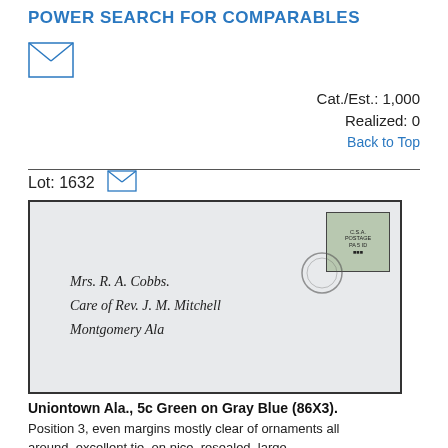POWER SEARCH FOR COMPARABLES
[Figure (illustration): Envelope/mail icon SVG]
Cat./Est.: 1,000
Realized: 0
Back to Top
Lot: 1632
[Figure (photo): Cover envelope addressed to Mrs. R. A. Cobbs, Care of Rev. J. M. Mitchell, Montgomery Ala, with a 5c green stamp and circular postmark in top right corner]
Uniontown Ala., 5c Green on Gray Blue (86X3).
Position 3, even margins mostly clear of ornaments all around, excellent tie, on nice, resealed, large